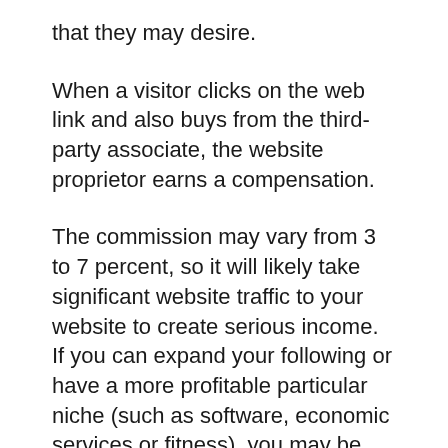that they may desire.
When a visitor clicks on the web link and also buys from the third-party associate, the website proprietor earns a compensation.
The commission may vary from 3 to 7 percent, so it will likely take significant website traffic to your website to create serious income. If you can expand your following or have a more profitable particular niche (such as software, economic services or fitness), you may be able to make some serious coin.
Affiliate advertising is considered passive because, theoretically, you can earn money just by including a web link to your website.